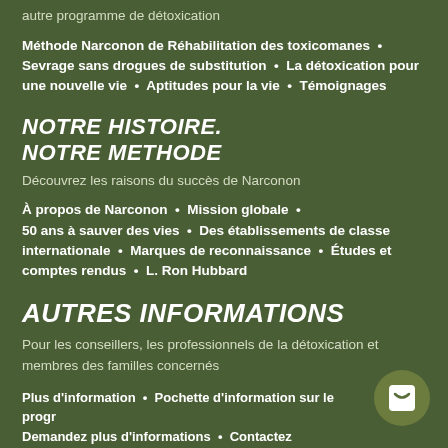autre programme de détoxication
Méthode Narconon de Réhabilitation des toxicomanes • Sevrage sans drogues de substitution • La détoxication pour une nouvelle vie • Aptitudes pour la vie • Témoignages
NOTRE HISTOIRE. NOTRE METHODE
Découvrez les raisons du succès de Narconon
À propos de Narconon • Mission globale • 50 ans à sauver des vies • Des établissements de classe internationale • Marques de reconnaissance • Études et comptes rendus • L. Ron Hubbard
AUTRES INFORMATIONS
Pour les conseillers, les professionnels de la détoxication et membres des familles concernés
Plus d'information • Pochette d'information sur le progr Demandez plus d'informations • Contactez Narconon • Éducation sur la drogue • Nouvelles • Spots d'information